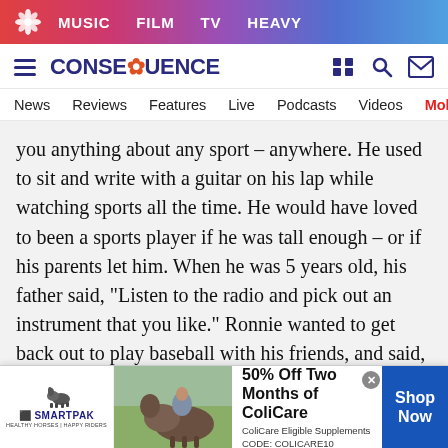MUSIC  FILM  TV  HEAVY
[Figure (logo): Consequence of Sound site logo with hamburger menu and icons]
News  Reviews  Features  Live  Podcasts  Videos  Mobile A
you anything about any sport – anywhere. He used to sit and write with a guitar on his lap while watching sports all the time. He would have loved to been a sports player if he was tall enough – or if his parents let him. When he was 5 years old, his father said, "Listen to the radio and pick out an instrument that you like." Ronnie wanted to get back out to play baseball with his friends, and said, "Oh…that one" – and it was a trumpet. So, his dad took
[Figure (photo): SmartPak advertisement showing a horse and rider with text: 50% Off Two Months of ColiCare, ColiCare Eligible Supplements, CODE: COLICARE10, Shop Now]